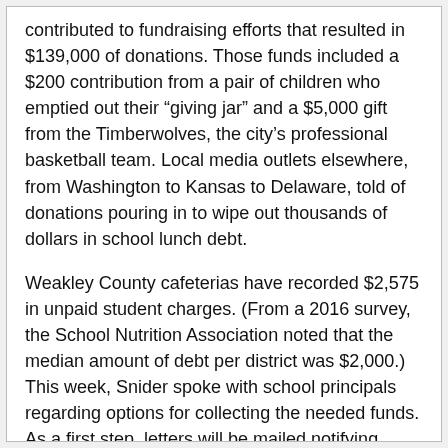contributed to fundraising efforts that resulted in $139,000 of donations. Those funds included a $200 contribution from a pair of children who emptied out their “giving jar” and a $5,000 gift from the Timberwolves, the city’s professional basketball team. Local media outlets elsewhere, from Washington to Kansas to Delaware, told of donations pouring in to wipe out thousands of dollars in school lunch debt.
Weakley County cafeterias have recorded $2,575 in unpaid student charges. (From a 2016 survey, the School Nutrition Association noted that the median amount of debt per district was $2,000.) This week, Snider spoke with school principals regarding options for collecting the needed funds. As a first step, letters will be mailed notifying parents of the deficits in their child’s account. Currently, the total number of students with charges of over $6 – approximately 2 lunches -- is 116.
“We hope they at least make payment plans or that a generous donor graces their child’s lunch account. Otherwise General Purpose Funds has to pay for it at the end of the year,” said Snider.
General funds cover essentials such as utilities...